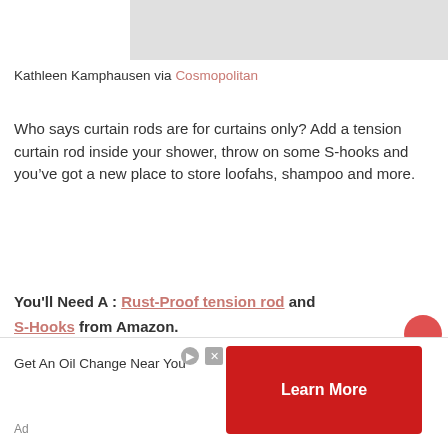[Figure (photo): Partial image of a shower or bathroom product at the top of the page]
Kathleen Kamphausen via Cosmopolitan
Who says curtain rods are for curtains only? Add a tension curtain rod inside your shower, throw on some S-hooks and you’ve got a new place to store loofahs, shampoo and more.
You’ll Need A : Rust-Proof tension rod and S-Hooks from Amazon.
Get An Oil Change Near You
Ad